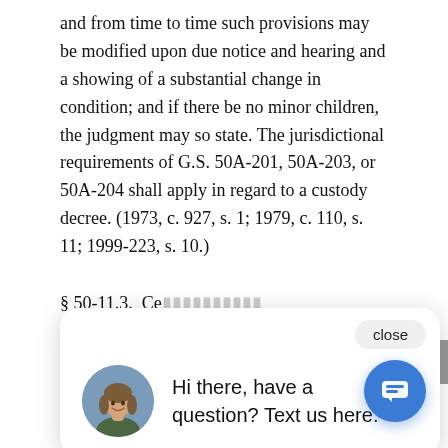and from time to time such provisions may be modified upon due notice and hearing and a showing of a substantial change in condition; and if there be no minor children, the judgment may so state. The jurisdictional requirements of G.S. 50A-201, 50A-203, or 50A-204 shall apply in regard to a custody decree. (1973, c. 927, s. 1; 1979, c. 110, s. 11; 1999-223, s. 10.)
§ 50-11.3. Ce[rtification — text partially obscured] January 1, 19[81 — text partially obscured]
Any judgmen[t — text partially obscured] prior to January 1, 1981, by a court of competent jurisdiction within the State of North Carolina[,] without a conclusion of law that the plaintiff w[as] entitled to an absolute divorce, but which is proper
[Figure (other): Chat popup overlay with close button, avatar photo of a woman, and text 'Hi there, have a question? Text us here.' Also shows a blue circular chat FAB button and a gray scroll-up arrow button.]